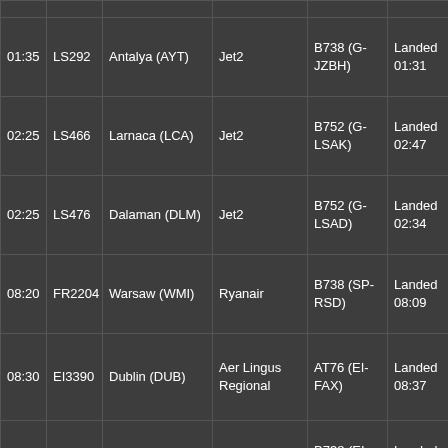| Time | Flight | Destination | Airline | Aircraft | Status |
| --- | --- | --- | --- | --- | --- |
| 01:35 | LS292 | Antalya (AYT) | Jet2 | B738 (G-JZBH) | Landed 01:31 |
| 02:25 | LS466 | Larnaca (LCA) | Jet2 | B752 (G-LSAK) | Landed 02:47 |
| 02:25 | LS476 | Dalaman (DLM) | Jet2 | B752 (G-LSAD) | Landed 02:34 |
| 08:20 | FR2204 | Warsaw (WMI) | Ryanair | B738 (SP-RSD) | Landed 08:09 |
| 08:30 | EI3390 | Dublin (DUB) | Aer Lingus Regional | AT76 (EI-FAX) | Landed 08:37 |
| 09:00 | FR152 | Dublin (DUB) | Ryanair | B738 (EI-EFN) | Landed 09:31 |